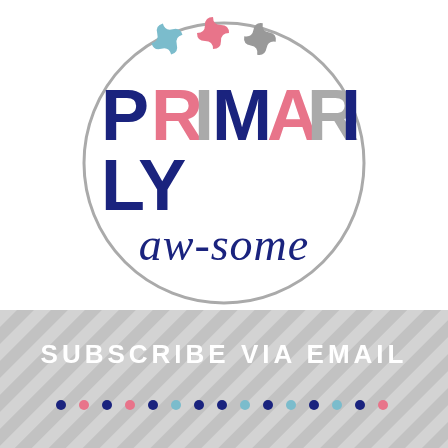[Figure (logo): Primarily Aw-some logo: circle with three puzzle pieces (blue, pink, gray) above bold text PRIMARILY with colored letters, and cursive script 'aw-some' below]
[Figure (illustration): Subscribe via email banner with diagonal stripe background, white bold uppercase text 'SUBSCRIBE VIA EMAIL', and a row of colored dots (navy, pink, teal, dark) below]